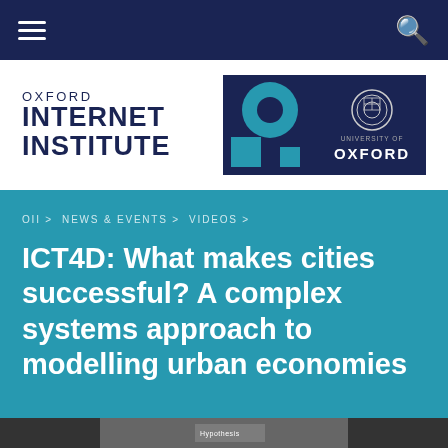Navigation bar with hamburger menu and search icon
[Figure (logo): Oxford Internet Institute logo with OII symbol and University of Oxford crest]
OII > NEWS & EVENTS > VIDEOS >
ICT4D: What makes cities successful? A complex systems approach to modelling urban economies
[Figure (screenshot): Video thumbnail strip at bottom of page]